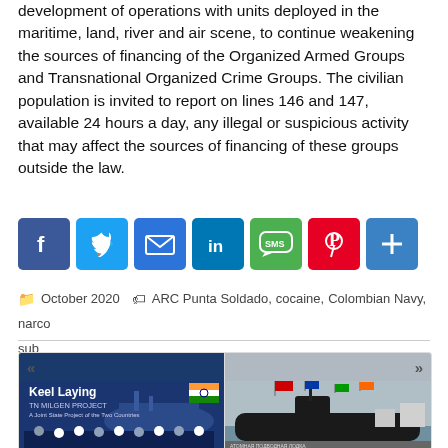development of operations with units deployed in the maritime, land, river and air scene, to continue weakening the sources of financing of the Organized Armed Groups and Transnational Organized Crime Groups. The civilian population is invited to report on lines 146 and 147, available 24 hours a day, any illegal or suspicious activity that may affect the sources of financing of these groups outside the law.
[Figure (infographic): Social sharing buttons: Facebook (blue), Twitter (blue), Email (blue), LinkedIn (teal), SMS (green), Pinterest (red), Share/Plus (blue)]
October 2020   ARC Punta Soldado, cocaine, Colombian Navy, narco sub
[Figure (photo): Left: Keel Laying TN MILGEN PROJECT photo showing naval officers and dignitaries in front of a warship display. Right: Photo of a submarine with flags, with Russian/Cyrillic text at bottom.]